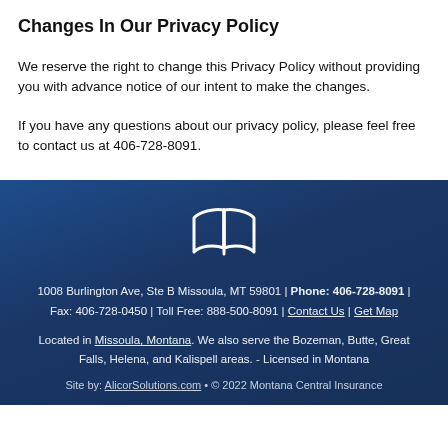Changes In Our Privacy Policy
We reserve the right to change this Privacy Policy without providing you with advance notice of our intent to make the changes.
If you have any questions about our privacy policy, please feel free to contact us at 406-728-8091.
[Figure (illustration): White map/book icon on dark blue background]
1008 Burlington Ave, Ste B Missoula, MT 59801 | Phone: 406-728-8091 | Fax: 406-728-0450 | Toll Free: 888-500-8091 | Contact Us | Get Map
Located in Missoula, Montana. We also serve the Bozeman, Butte, Great Falls, Helena, and Kalispell areas. - Licensed in Montana
Site by: AlicorSolutions.com • © 2022 Montana Central Insurance